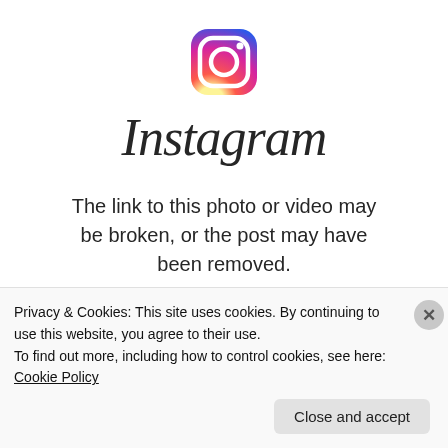[Figure (logo): Instagram gradient camera icon logo]
Instagram
The link to this photo or video may be broken, or the post may have been removed.
Visit Instagram
Privacy & Cookies: This site uses cookies. By continuing to use this website, you agree to their use.
To find out more, including how to control cookies, see here: Cookie Policy
Close and accept